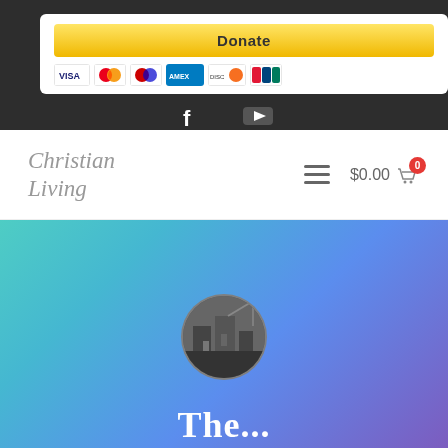[Figure (other): Donate button with PayPal branding and credit card icons (Visa, Mastercard, Amex, Discover, UnionPay) on white background, displayed on dark gray top bar]
[Figure (other): Social media icons: Facebook 'f' icon and YouTube play button icon, centered on dark bar]
[Figure (logo): Christian Living website logo in serif italic gray text]
[Figure (other): Navigation: hamburger menu icon and shopping cart showing $0.00 with red badge showing 0]
[Figure (photo): Hero section with teal-to-purple gradient background, circular black-and-white photo of a cityscape/building in center, and large white serif text beginning 'The...' at bottom]